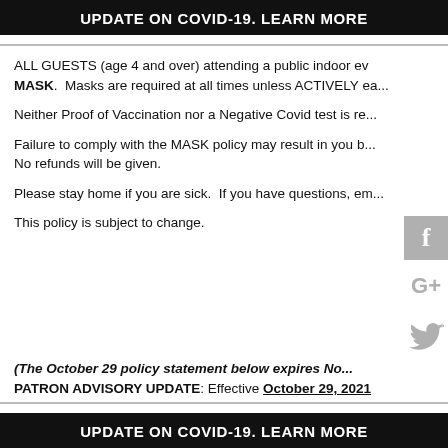UPDATE ON COVID-19. LEARN MORE
ALL GUESTS (age 4 and over) attending a public indoor ev... MASK.  Masks are required at all times unless ACTIVELY ea...
Neither Proof of Vaccination nor a Negative Covid test is re...
Failure to comply with the MASK policy may result in you b... No refunds will be given.
Please stay home if you are sick.  If you have questions, em...
This policy is subject to change.
(The October 29 policy statement below expires No...
PATRON ADVISORY UPDATE: Effective October 29, 2021
UPDATE ON COVID-19. LEARN MORE